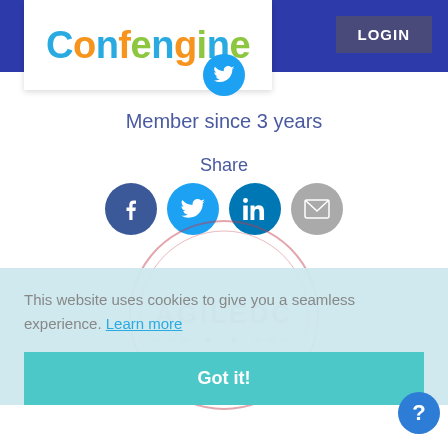Confengine | LOGIN
Member since 3 years
Share
[Figure (screenshot): Social sharing icons: Facebook (blue circle with f), Twitter (light blue circle with bird), LinkedIn (dark blue circle with in), Email (gray circle with envelope)]
This website uses cookies to give you a seamless experience. Learn more
[Figure (logo): AGILEDC watermark circle with text and stars]
Got it!